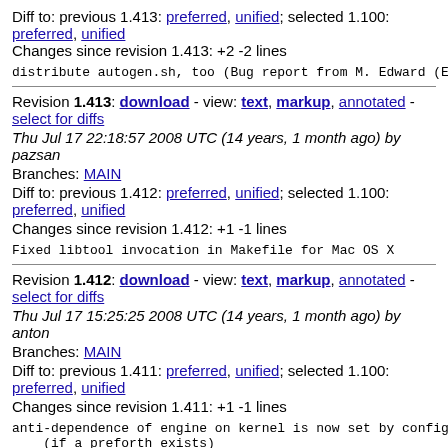Diff to: previous 1.413: preferred, unified; selected 1.100: preferred, unified
Changes since revision 1.413: +2 -2 lines
distribute autogen.sh, too (Bug report from M. Edward (Ed...
Revision 1.413: download - view: text, markup, annotated - select for diffs
Thu Jul 17 22:18:57 2008 UTC (14 years, 1 month ago) by pazsan
Branches: MAIN
Diff to: previous 1.412: preferred, unified; selected 1.100: preferred, unified
Changes since revision 1.412: +1 -1 lines
Fixed libtool invocation in Makefile for Mac OS X
Revision 1.412: download - view: text, markup, annotated - select for diffs
Thu Jul 17 15:25:25 2008 UTC (14 years, 1 month ago) by anton
Branches: MAIN
Diff to: previous 1.411: preferred, unified; selected 1.100: preferred, unified
Changes since revision 1.411: +1 -1 lines
anti-dependence of engine on kernel is now set by configu...
    (if a preforth exists)